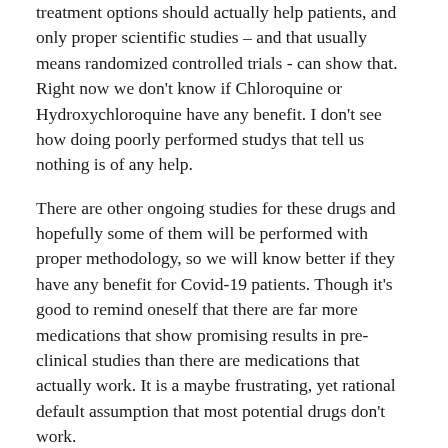treatment options should actually help patients, and only proper scientific studies – and that usually means randomized controlled trials - can show that. Right now we don't know if Chloroquine or Hydroxychloroquine have any benefit. I don't see how doing poorly performed studys that tell us nothing is of any help.
There are other ongoing studies for these drugs and hopefully some of them will be performed with proper methodology, so we will know better if they have any benefit for Covid-19 patients. Though it's good to remind oneself that there are far more medications that show promising results in pre-clinical studies than there are medications that actually work. It is a maybe frustrating, yet rational default assumption that most potential drugs don't work.
Image source: PubChem Identifier: CID 3652
11 Comments